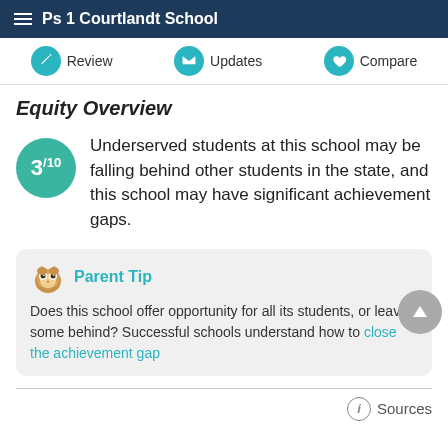Ps 1 Courtlandt School
Review | Updates | Compare
Equity Overview
3/10 Underserved students at this school may be falling behind other students in the state, and this school may have significant achievement gaps.
Parent Tip
Does this school offer opportunity for all its students, or leave some behind? Successful schools understand how to close the achievement gap
Sources